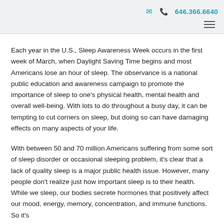646.366.6640
Each year in the U.S., Sleep Awareness Week occurs in the first week of March, when Daylight Saving Time begins and most Americans lose an hour of sleep. The observance is a national public education and awareness campaign to promote the importance of sleep to one's physical health, mental health and overall well-being. With lots to do throughout a busy day, it can be tempting to cut corners on sleep, but doing so can have damaging effects on many aspects of your life.
With between 50 and 70 million Americans suffering from some sort of sleep disorder or occasional sleeping problem, it's clear that a lack of quality sleep is a major public health issue. However, many people don't realize just how important sleep is to their health. While we sleep, our bodies secrete hormones that positively affect our mood, energy, memory, concentration, and immune functions. So it's